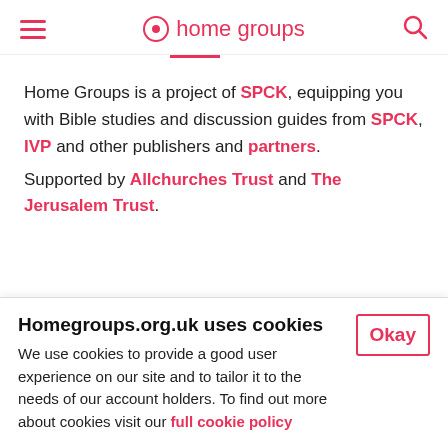home groups
Home Groups is a project of SPCK, equipping you with Bible studies and discussion guides from SPCK, IVP and other publishers and partners. Supported by Allchurches Trust and The Jerusalem Trust.
Homegroups.org.uk uses cookies
We use cookies to provide a good user experience on our site and to tailor it to the needs of our account holders. To find out more about cookies visit our full cookie policy